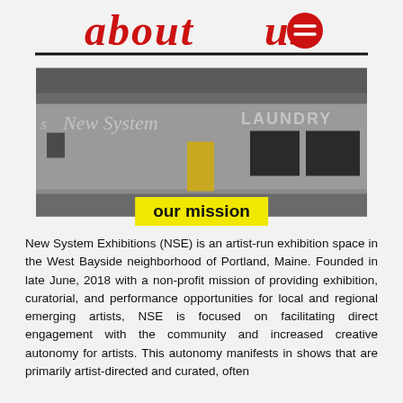about us
[Figure (photo): Exterior photo of the New System Laundry building, a gray/white commercial building with large lettering reading 'New System LAUNDRY'. The building has a yellow door and dark windows.]
our mission
New System Exhibitions (NSE) is an artist-run exhibition space in the West Bayside neighborhood of Portland, Maine. Founded in late June, 2018 with a non-profit mission of providing exhibition, curatorial, and performance opportunities for local and regional emerging artists, NSE is focused on facilitating direct engagement with the community and increased creative autonomy for artists. This autonomy manifests in shows that are primarily artist-directed and curated, often